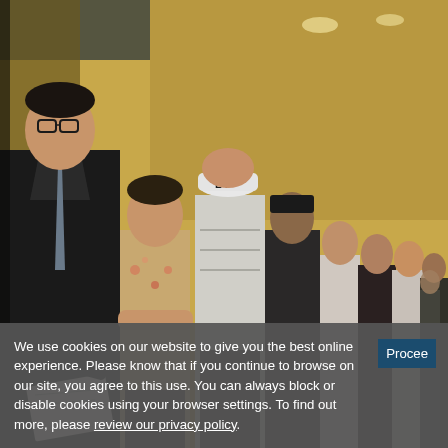[Figure (photo): A long line of job seekers at what appears to be a job fair or employment event inside a hotel or convention center hallway. In the foreground, a man in a dark suit and glasses looks down at papers he is holding. Behind him stretches a long queue of diverse individuals waiting in line.]
A curious thing is happening amid the ongoing labor market recovery.
The labor force is shrinking. In September, the labor force—all the
We use cookies on our website to give you the best online experience. Please know that if you continue to browse on our site, you agree to this use. You can always block or disable cookies using your browser settings. To find out more, please review our privacy policy.